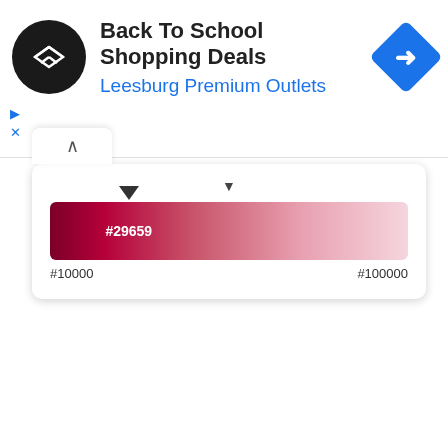[Figure (screenshot): Advertisement banner for Back To School Shopping Deals at Leesburg Premium Outlets with logo and navigation icon]
Back To School Shopping Deals
Leesburg Premium Outlets
[Figure (screenshot): A color gradient slider widget showing a range from #10000 to #100000 with current value indicator at #29659, gradient going from dark crimson to light pink/white]